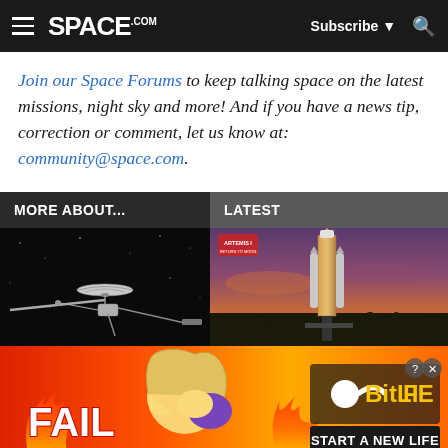SPACE.com — Subscribe, Search
Join our Space Forums to keep talking space on the latest missions, night sky and more! And if you have a news tip, correction or comment, let us know at: community@space.com.
MORE ABOUT...
LATEST
[Figure (photo): Illustration of Voyager spacecraft against black space background]
[Figure (photo): Rocket (Artemis I SLS) on launch pad at dusk/sunset with orange-pink sky]
[Figure (photo): BitLife advertisement banner showing FAIL text, cartoon character, flames, and START A NEW LIFE text]